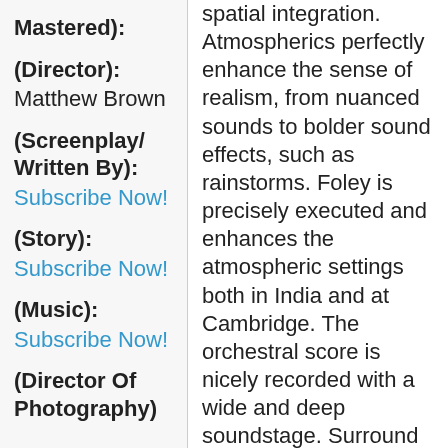Mastered):
(Director): Matthew Brown
(Screenplay/ Written By): Subscribe Now!
(Story): Subscribe Now!
(Music): Subscribe Now!
(Director Of Photography)
spatial integration. Atmospherics perfectly enhance the sense of realism, from nuanced sounds to bolder sound effects, such as rainstorms. Foley is precisely executed and enhances the atmospheric settings both in India and at Cambridge. The orchestral score is nicely recorded with a wide and deep soundstage. Surround envelopment is largely accomplished with the music but also in atmospheric sonics such as rain. Dialogue is occasionally